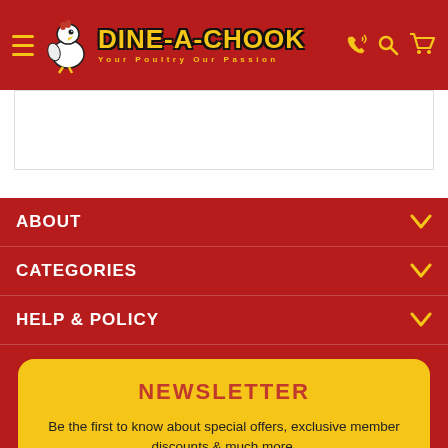Dine-A-Chook — Your Poultry Our Passion
[Figure (screenshot): White content/product area placeholder]
ABOUT
CATEGORIES
HELP & POLICY
NEWSLETTER
Be the first to know about special offers, exclusive member discounts & much more.